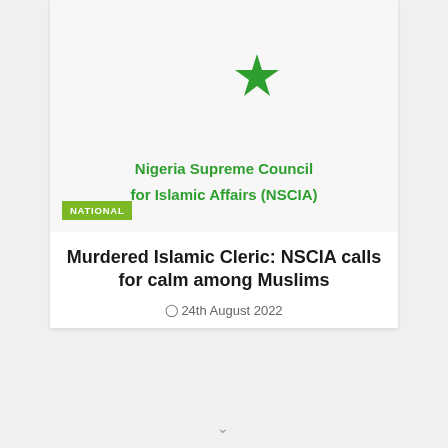[Figure (logo): Nigeria Supreme Council for Islamic Affairs (NSCIA) logo — green crescent moon and star symbol above the organization name in green bold text]
NATIONAL
Murdered Islamic Cleric: NSCIA calls for calm among Muslims
24th August 2022